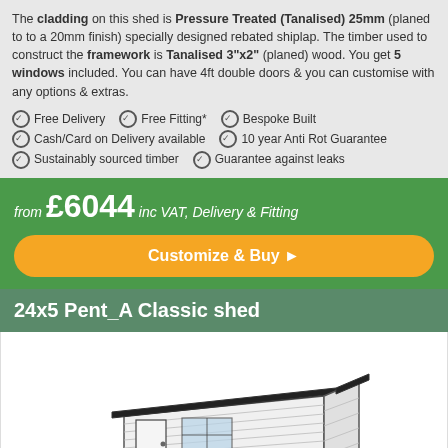The cladding on this shed is Pressure Treated (Tanalised) 25mm (planed to to a 20mm finish) specially designed rebated shiplap. The timber used to construct the framework is Tanalised 3"x2" (planed) wood. You get 5 windows included. You can have 4ft double doors & you can customise with any options & extras.
Free Delivery   Free Fitting*   Bespoke Built
Cash/Card on Delivery available   10 year Anti Rot Guarantee
Sustainably sourced timber   Guarantee against leaks
from £6044 inc VAT, Delivery & Fitting
Customize & Buy
24x5 Pent_A Classic shed
[Figure (illustration): 3D illustration of a pent roof shed with horizontal cladding, a door on the left side and a window, dark roof]